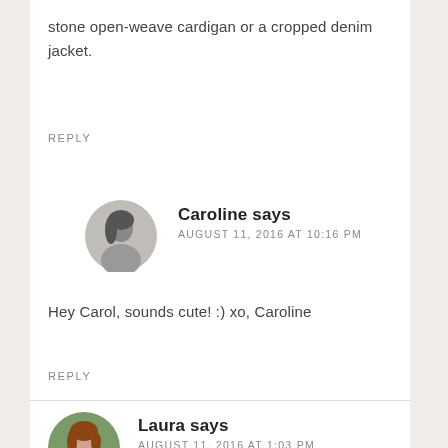stone open-weave cardigan or a cropped denim jacket.
REPLY
[Figure (photo): Round avatar photo of Caroline, a woman with dark hair, grayscale/black and white image]
Caroline says
AUGUST 11, 2016 AT 10:16 PM
Hey Carol, sounds cute! :) xo, Caroline
REPLY
[Figure (photo): Round avatar photo of Laura, a woman with reddish-brown hair, color image with green background]
Laura says
AUGUST 11, 2016 AT 1:03 PM